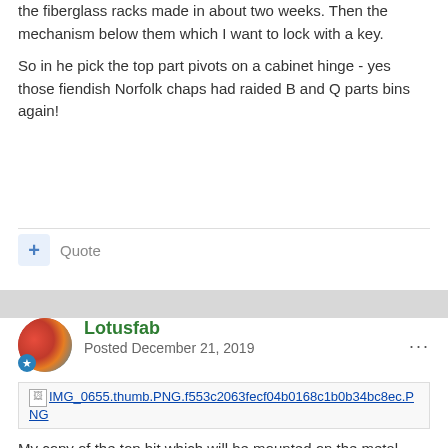the fiberglass racks made in about two weeks. Then the mechanism below them which I want to lock with a key.
So in he pick the top part pivots on a cabinet hinge - yes those fiendish Norfolk chaps had raided B and Q parts bins again!
Quote
Lotusfab
Posted December 21, 2019
[Figure (screenshot): Broken image thumbnail link: IMG_0655.thumb.PNG.f553c2063fecf04b0168c1b0b34bc8ec.PNG]
My copy of the top bit which will be mounted on the metal hinge. My poetic license here will be  to have rubber strips beow and above the bracket, Thule style, to hold the skis in place. The bracket will lock with a push in pin, like the original. The exception a key will be needed to retract the pin.